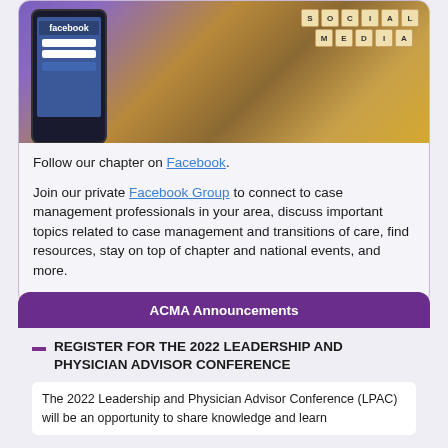[Figure (photo): Photo of a smartphone displaying Facebook login screen alongside Scrabble tiles spelling SOCIAL MEDIA on a wooden surface]
Follow our chapter on Facebook.
Join our private Facebook Group to connect to case management professionals in your area, discuss important topics related to case management and transitions of care, find resources, stay on top of chapter and national events, and more.
ACMA Announcements
REGISTER FOR THE 2022 LEADERSHIP AND PHYSICIAN ADVISOR CONFERENCE
The 2022 Leadership and Physician Advisor Conference (LPAC) will be an opportunity to share knowledge and learn